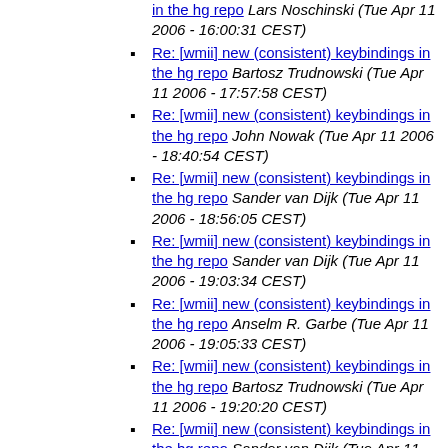Re: [wmii] new (consistent) keybindings in the hg repo Lars Noschinski (Tue Apr 11 2006 - 16:00:31 CEST)
Re: [wmii] new (consistent) keybindings in the hg repo Bartosz Trudnowski (Tue Apr 11 2006 - 17:57:58 CEST)
Re: [wmii] new (consistent) keybindings in the hg repo John Nowak (Tue Apr 11 2006 - 18:40:54 CEST)
Re: [wmii] new (consistent) keybindings in the hg repo Sander van Dijk (Tue Apr 11 2006 - 18:56:05 CEST)
Re: [wmii] new (consistent) keybindings in the hg repo Sander van Dijk (Tue Apr 11 2006 - 19:03:34 CEST)
Re: [wmii] new (consistent) keybindings in the hg repo Anselm R. Garbe (Tue Apr 11 2006 - 19:05:33 CEST)
Re: [wmii] new (consistent) keybindings in the hg repo Bartosz Trudnowski (Tue Apr 11 2006 - 19:20:20 CEST)
Re: [wmii] new (consistent) keybindings in the hg repo Sander van Dijk (Tue Apr 11 2006 - 19:29:48 CEST)
Re: [wmii] new (consistent) keybindings in the hg repo Sander van Dijk (Tue Apr ...